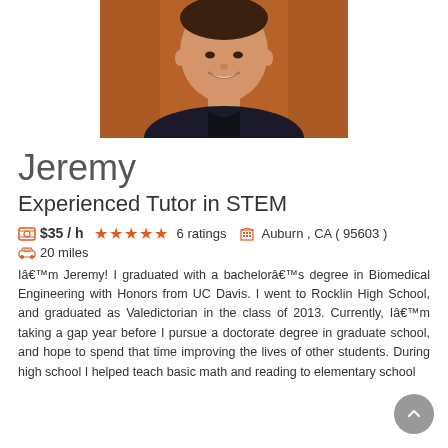[Figure (photo): Profile photo of Jeremy, a young man smiling, wearing a dark shirt, against an orange-brown background]
Jeremy
Experienced Tutor in STEM
$35 / h  ★★★★★  6 ratings  Auburn , CA ( 95603 )  20 miles
Iâ€™m Jeremy! I graduated with a bachelorâ€™s degree in Biomedical Engineering with Honors from UC Davis. I went to Rocklin High School, and graduated as Valedictorian in the class of 2013. Currently, Iâ€™m taking a gap year before I pursue a doctorate degree in graduate school, and hope to spend that time improving the lives of other students. During high school I helped teach basic math and reading to elementary school